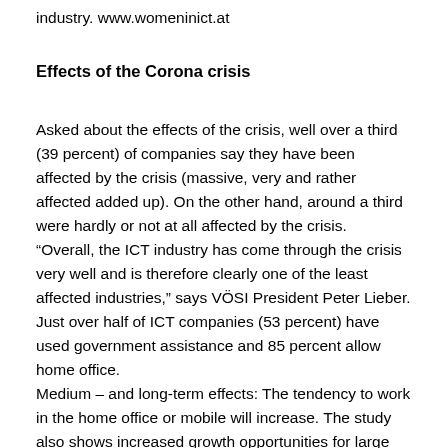industry. www.womeninict.at
Effects of the Corona crisis
Asked about the effects of the crisis, well over a third (39 percent) of companies say they have been affected by the crisis (massive, very and rather affected added up). On the other hand, around a third were hardly or not at all affected by the crisis. “Overall, the ICT industry has come through the crisis very well and is therefore clearly one of the least affected industries,” says VÖSI President Peter Lieber. Just over half of ICT companies (53 percent) have used government assistance and 85 percent allow home office.
Medium – and long-term effects: The tendency to work in the home office or mobile will increase. The study also shows increased growth opportunities for large companies, but sees dangers for many small